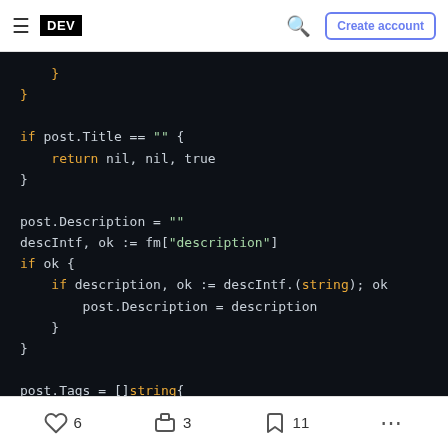DEV — Create account (navigation bar)
[Figure (screenshot): Dark-themed code editor screenshot showing Go code with syntax highlighting. Orange keywords (if, return), white/gray identifiers, and green strings. Code snippet handles post.Title empty check, sets post.Description from frontmatter map, and begins post.Tags assignment.]
6 likes  3  11 bookmarks  ...